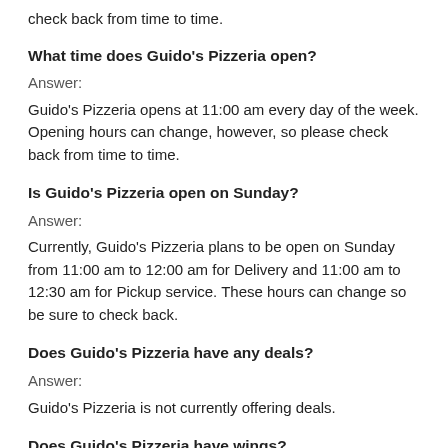check back from time to time.
What time does Guido's Pizzeria open?
Answer:
Guido's Pizzeria opens at 11:00 am every day of the week. Opening hours can change, however, so please check back from time to time.
Is Guido's Pizzeria open on Sunday?
Answer:
Currently, Guido's Pizzeria plans to be open on Sunday from 11:00 am to 12:00 am for Delivery and 11:00 am to 12:30 am for Pickup service. These hours can change so be sure to check back.
Does Guido's Pizzeria have any deals?
Answer:
Guido's Pizzeria is not currently offering deals.
Does Guido's Pizzeria have wings?
Answer: